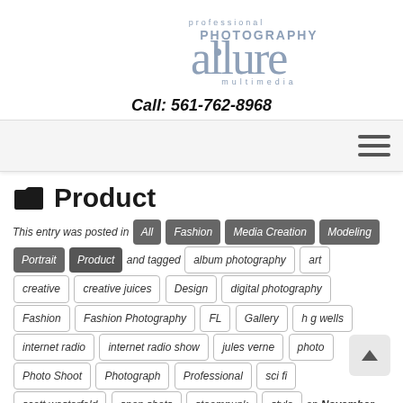[Figure (logo): Allure Professional Photography Multimedia logo — large stylized 'allure' text in blue-grey with 'professional PHOTOGRAPHY' above and 'multimedia' below]
Call: 561-762-8968
[Figure (other): Navigation bar with hamburger menu icon (three horizontal lines) on the right]
Product
This entry was posted in All Fashion Media Creation Modeling Portrait Product and tagged album photography art creative creative juices Design digital photography Fashion Fashion Photography FL Gallery h g wells internet radio internet radio show jules verne photo Photo Shoot Photograph Professional sci fi scott westerfeld snap shots steampunk style on November 21, 2011 by Joseph Cristina
Steampunk Photo Shoot
Professional Fashion / Period Photography